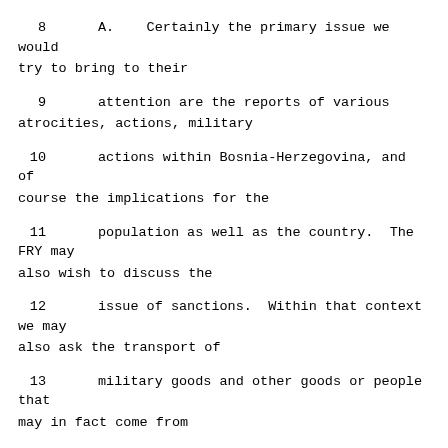8      A.   Certainly the primary issue we would try to bring to their
9      attention are the reports of various atrocities, actions, military
10     actions within Bosnia-Herzegovina, and of course the implications for the
11     population as well as the country.  The FRY may also wish to discuss the
12     issue of sanctions.  Within that context we may also ask the transport of
13     military goods and other goods or people that may in fact come from
14     Serbian Montenegro into Bosnia-Herzegovina.  We may